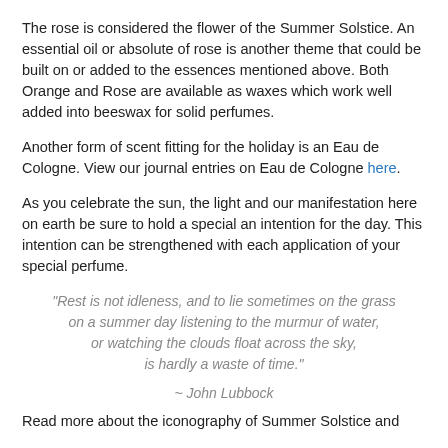The rose is considered the flower of the Summer Solstice. An essential oil or absolute of rose is another theme that could be built on or added to the essences mentioned above. Both Orange and Rose are available as waxes which work well added into beeswax for solid perfumes.
Another form of scent fitting for the holiday is an Eau de Cologne. View our journal entries on Eau de Cologne here.
As you celebrate the sun, the light and our manifestation here on earth be sure to hold a special an intention for the day. This intention can be strengthened with each application of your special perfume.
"Rest is not idleness, and to lie sometimes on the grass on a summer day listening to the murmur of water, or watching the clouds float across the sky, is hardly a waste of time." ~ John Lubbock
Read more about the iconography of Summer Solstice and